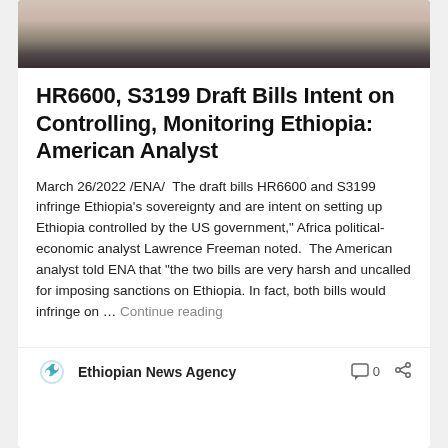[Figure (photo): Cropped photo of a man with a grey beard, partial face visible, bookshelf in background]
HR6600, S3199 Draft Bills Intent on Controlling, Monitoring Ethiopia: American Analyst
March 26/2022 /ENA/  The draft bills HR6600 and S3199 infringe Ethiopia's sovereignty and are intent on setting up Ethiopia controlled by the US government," Africa political-economic analyst Lawrence Freeman noted.  The American analyst told ENA that "the two bills are very harsh and uncalled for imposing sanctions on Ethiopia. In fact, both bills would infringe on … Continue reading
Ethiopian News Agency  0